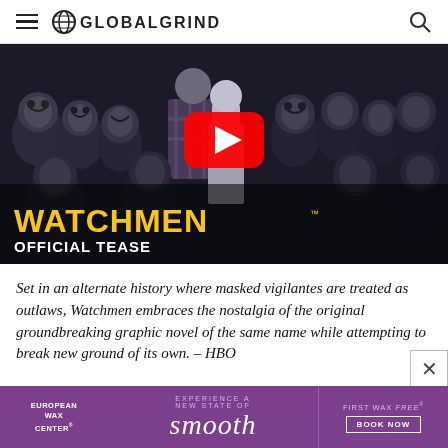GLOBALGRIND
[Figure (screenshot): Watchmen HBO Official Tease video thumbnail showing group of masked figures in monochrome with yellow Watchmen title text and YouTube play button overlay]
Set in an alternate history where masked vigilantes are treated as outlaws, Watchmen embraces the nostalgia of the original groundbreaking graphic novel of the same name while attempting to break new ground of its own. – HBO
[Figure (advertisement): European Wax Center advertisement with purple background: 'Experience a new state of smooth. First wax free. Book Now.']